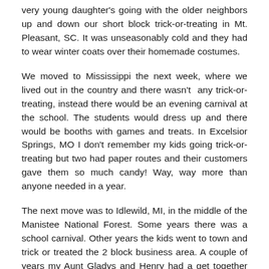very young daughter's going with the older neighbors up and down our short block trick-or-treating in Mt. Pleasant, SC. It was unseasonably cold and they had to wear winter coats over their homemade costumes.
We moved to Mississippi the next week, where we lived out in the country and there wasn't any trick-or-treating, instead there would be an evening carnival at the school. The students would dress up and there would be booths with games and treats. In Excelsior Springs, MO I don't remember my kids going trick-or-treating but two had paper routes and their customers gave them so much candy! Way, way more than anyone needed in a year.
The next move was to Idlewild, MI, in the middle of the Manistee National Forest. Some years there was a school carnival. Other years the kids went to town and trick or treated the 2 block business area. A couple of years my Aunt Gladys and Henry had a get together with cider and